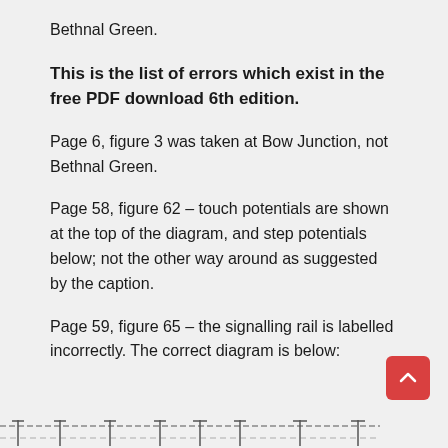Bethnal Green.
This is the list of errors which exist in the free PDF download 6th edition.
Page 6, figure 3 was taken at Bow Junction, not Bethnal Green.
Page 58, figure 62 – touch potentials are shown at the top of the diagram, and step potentials below; not the other way around as suggested by the caption.
Page 59, figure 65 – the signalling rail is labelled incorrectly. The correct diagram is below:
[Figure (engineering-diagram): Partial view of a signalling rail diagram at the bottom of the page, showing a cross-section schematic with dashed horizontal lines and vertical markers.]